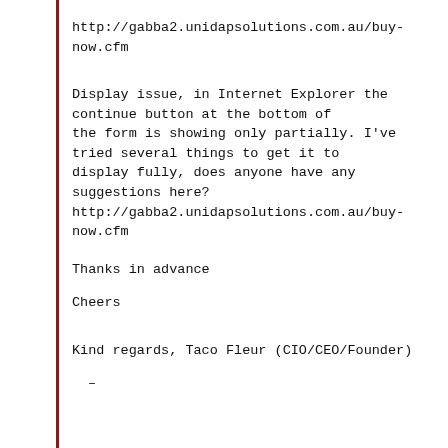http://gabba2.unidapsolutions.com.au/buy-now.cfm
Display issue, in Internet Explorer the continue button at the bottom of the form is showing only partially. I've tried several things to get it to display fully, does anyone have any suggestions here?
http://gabba2.unidapsolutions.com.au/buy-now.cfm
Thanks in advance
Cheers
Kind regards, Taco Fleur (CIO/CEO/Founder)
–